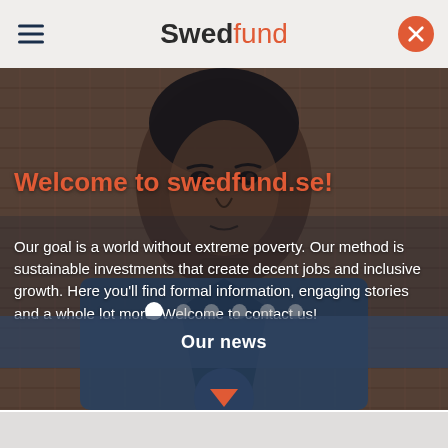Swedfund
[Figure (photo): Close-up portrait of a young African woman wearing a denim jacket, with woven basket texture in background]
Welcome to swedfund.se!
Our goal is a world without extreme poverty. Our method is sustainable investments that create decent jobs and inclusive growth. Here you'll find formal information, engaging stories and a whole lot more. Welcome to contact us!
Our news